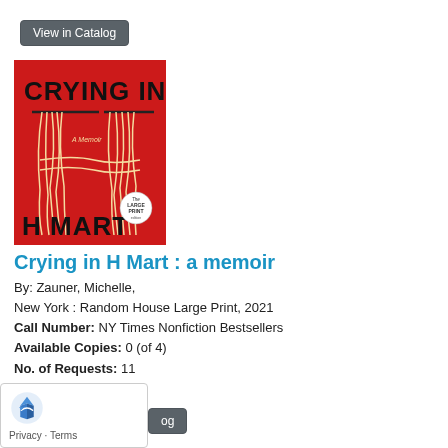View in Catalog
[Figure (illustration): Book cover of 'Crying in H Mart: a memoir' — red background with large hand-lettered black text 'CRYING IN' at top and 'H MART' at bottom, with illustrated white noodles hanging down the center forming the shape of the letter H. A 'Large Print' circular badge is in the lower right.]
Crying in H Mart : a memoir
By: Zauner, Michelle,
New York : Random House Large Print, 2021
Call Number: NY Times Nonfiction Bestsellers
Available Copies: 0 (of 4)
No. of Requests: 11
View in Catalog
Privacy · Terms